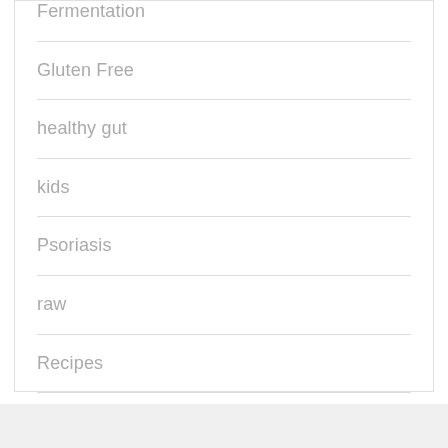Fermentation
Gluten Free
healthy gut
kids
Psoriasis
raw
Recipes
Uncategorized